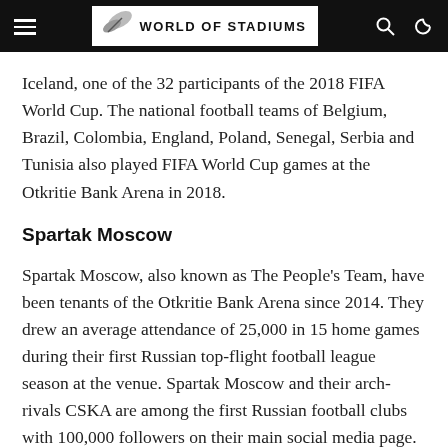World of Stadiums
Iceland, one of the 32 participants of the 2018 FIFA World Cup. The national football teams of Belgium, Brazil, Colombia, England, Poland, Senegal, Serbia and Tunisia also played FIFA World Cup games at the Otkritie Bank Arena in 2018.
Spartak Moscow
Spartak Moscow, also known as The People’s Team, have been tenants of the Otkritie Bank Arena since 2014. They drew an average attendance of 25,000 in 15 home games during their first Russian top-flight football league season at the venue. Spartak Moscow and their arch-rivals CSKA are among the first Russian football clubs with 100,000 followers on their main social media page. In 1991, Spartak Moscow became the first club